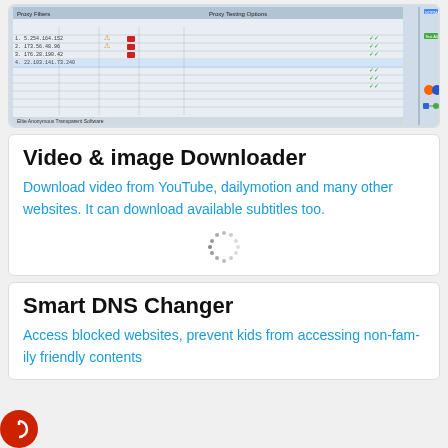[Figure (screenshot): Screenshot of a proxy management software with a list of proxy servers showing IP addresses, proxy types, country flags, and status indicators. Right panel shows proxy testing options with browser configuration diagram.]
Video & image Downloader
Download video from YouTube, dailymotion and many other websites. It can download available subtitles too.
[Figure (other): Loading spinner graphic]
Smart DNS Changer
Access blocked websites, prevent kids from accessing non-fam-ily friendly contents